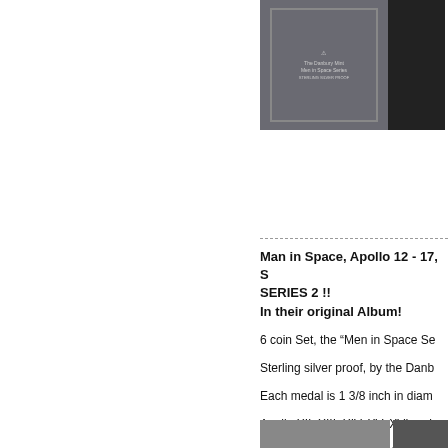[Figure (photo): Dark navy/grey album book cover with small emblem, and a dark rectangular object beside it]
------------------------------------------------------------
Man in Space, Apollo 12 - 17, S SERIES 2 !!
In their original Album!
6 coin Set, the “Men in Space Se
Sterling silver proof, by the Danb
Each medal is 1 3/8 inch in diam
Apollo XII, XIII, XIV, XV, XVI and
These six medals are not part of the COMPLETE "Series 2"!! Very
[Figure (photo): Partial view of coin set album at bottom of page]